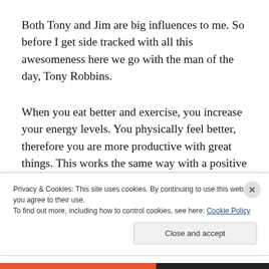Both Tony and Jim are big influences to me. So before I get side tracked with all this awesomeness here we go with the man of the day, Tony Robbins.
When you eat better and exercise, you increase your energy levels. You physically feel better, therefore you are more productive with great things. This works the same way with a positive mind. The more you think positive the better you will feel. When you feel better or happier the
Privacy & Cookies: This site uses cookies. By continuing to use this website, you agree to their use.
To find out more, including how to control cookies, see here: Cookie Policy
Close and accept